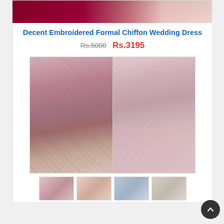[Figure (photo): Top strip showing part of a decorative bridal/formal dress in dark red and pink tones]
Decent Embroidered Formal Chiffon Wedding Dress
Rs.5000  Rs.3195
[Figure (photo): Two side-by-side photos of a model wearing a pink embroidered chiffon formal/wedding dress with dupatta, shown from front in two angles, in an ornate golden interior setting]
[Figure (photo): Row of four thumbnail images showing different views and details of the pink embroidered chiffon wedding dress]